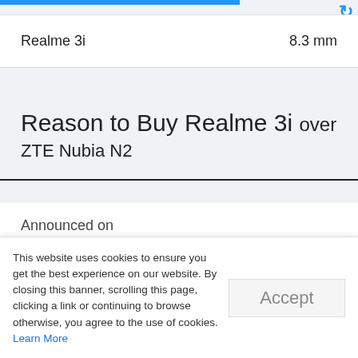| Device | Thickness |
| --- | --- |
| Realme 3i | 8.3 mm |
Reason to Buy Realme 3i over ZTE Nubia N2
| Announced on |  |
| --- | --- |
| Realme 3i | July 2019 |
| ZTE Nubia N2 | July 2017 |
This website uses cookies to ensure you get the best experience on our website. By closing this banner, scrolling this page, clicking a link or continuing to browse otherwise, you agree to the use of cookies. Learn More